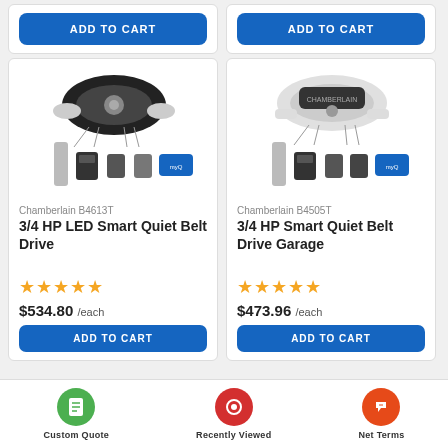[Figure (screenshot): E-commerce product listing page showing two garage door opener products with Add to Cart buttons, product images, names, star ratings, prices, and a bottom navigation bar with Custom Quote, Recently Viewed, and Net Terms icons.]
ADD TO CART
ADD TO CART
[Figure (photo): Chamberlain B4613T garage door opener unit with remotes and accessories]
Chamberlain B4613T
3/4 HP LED Smart Quiet Belt Drive
★★★★★
$534.80 /each
[Figure (photo): Chamberlain B4505T garage door opener unit with remotes and accessories]
Chamberlain B4505T
3/4 HP Smart Quiet Belt Drive Garage
★★★★★
$473.96 /each
Custom Quote   Recently Viewed   Net Terms